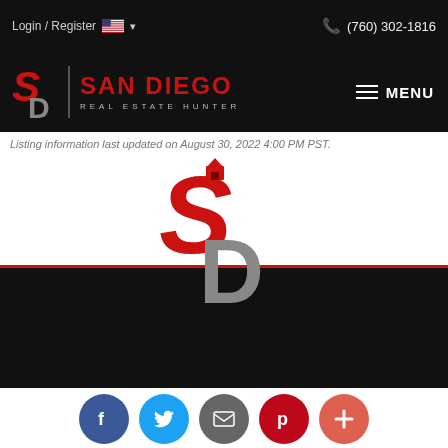Login / Register  (760) 302-1816
[Figure (logo): San Diego Real Estate Hunter logo with SD monogram and text]
Listing information last updated on August 30, 2022 4:00 PM PST.
[Figure (logo): San Diego Real Estate Hunter SD monogram logo centered large]
[Figure (infographic): Social media icon buttons: Facebook, Twitter, Email, Pinterest, Plus]